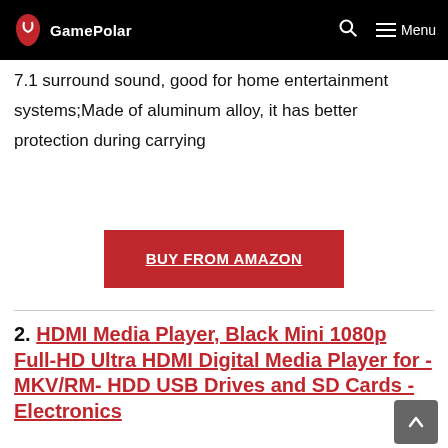GamePolar
7.1 surround sound, good for home entertainment systems;Made of aluminum alloy, it has better protection during carrying
BUY FROM AMAZON
2. HDMI Media Player, Black Mini 1080p Full-HD Ultra HDMI Digital Media Player for -MKV/RM- HDD USB Drives and SD Cards - Electronics